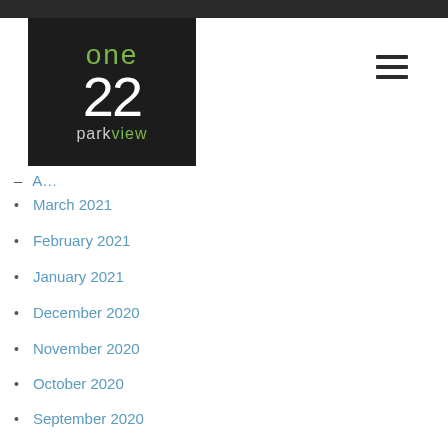[Figure (logo): One 22 Parkview logo — dark background with green 'one', white '22', and grey/green 'parkview' text]
March 2021
February 2021
January 2021
December 2020
November 2020
October 2020
September 2020
August 2020
July 2020
June 2020